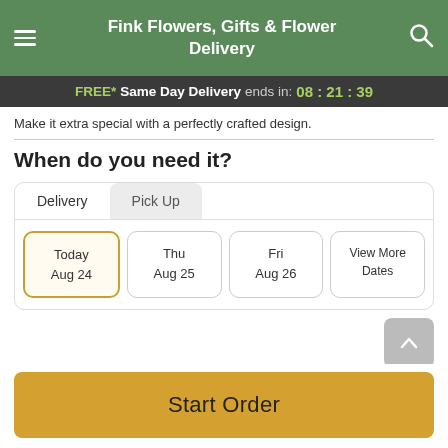Fink Flowers, Gifts & Flower Delivery
FREE* Same Day Delivery ends in: 08:21:39
Make it extra special with a perfectly crafted design.
When do you need it?
Delivery | Pick Up
Today Aug 24 | Thu Aug 25 | Fri Aug 26 | View More Dates
Guaranteed SAFE Checkout
Start Order